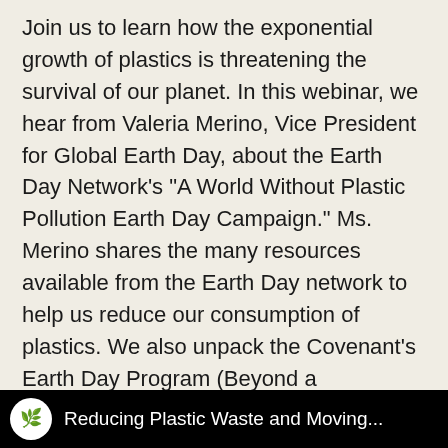Join us to learn how the exponential growth of plastics is threatening the survival of our planet. In this webinar, we hear from Valeria Merino, Vice President for Global Earth Day, about the Earth Day Network's "A World Without Plastic Pollution Earth Day Campaign." Ms. Merino shares the many resources available from the Earth Day network to help us reduce our consumption of plastics. We also unpack the Covenant's Earth Day Program (Beyond a Throwaway Culture: Reduce Waste--Grow Community), and explore how your faith community can celebrate our common home on Earth Day...and every day!
[Figure (screenshot): Black banner with a circular white logo featuring a green plant/leaf icon, followed by white text 'Reducing Plastic Waste and Moving...']